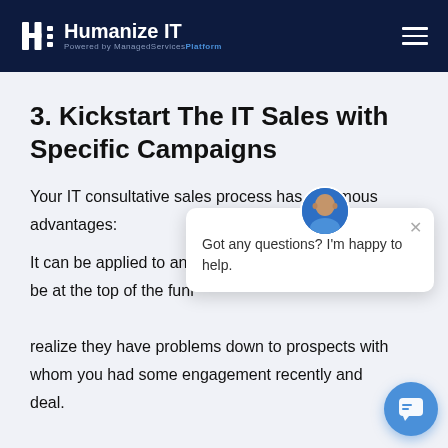Humanize IT — Powered by ManagedServicesPlatform
3. Kickstart The IT Sales with Specific Campaigns
Your IT consultative sales process has enormous advantages:
It can be applied to any … be at the top of the funr… realize they have problems down to prospects with whom you had some engagement recently and … deal.
[Figure (other): Chat popup widget with avatar photo of a bald man, close button (×), and message text: 'Got any questions? I'm happy to help.' with a blue chat bubble button in the bottom right corner.]